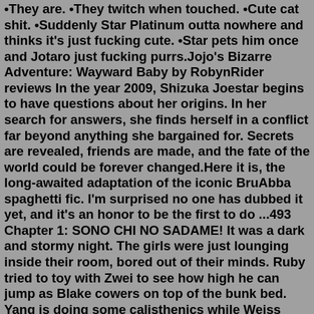•They are. •They twitch when touched. •Cute cat shit. •Suddenly Star Platinum outta nowhere and thinks it's just fucking cute. •Star pets him once and Jotaro just fucking purrs.Jojo's Bizarre Adventure: Wayward Baby by RobynRider reviews In the year 2009, Shizuka Joestar begins to have questions about her origins. In her search for answers, she finds herself in a conflict far beyond anything she bargained for. Secrets are revealed, friends are made, and the fate of the world could be forever changed.Here it is, the long-awaited adaptation of the iconic BruAbba spaghetti fic. I'm surprised no one has dubbed it yet, and it's an honor to be the first to do ...493 Chapter 1: SONO CHI NO SADAME! It was a dark and stormy night. The girls were just lounging inside their room, bored out of their minds. Ruby tried to toy with Zwei to see how high he can jump as Blake cowers on top of the bunk bed. Yang is doing some calisthenics while Weiss borrowed one of Blake's novel that is may or may not be overdue ...Our bizarre fiction, dessumiisluge, December 27th,